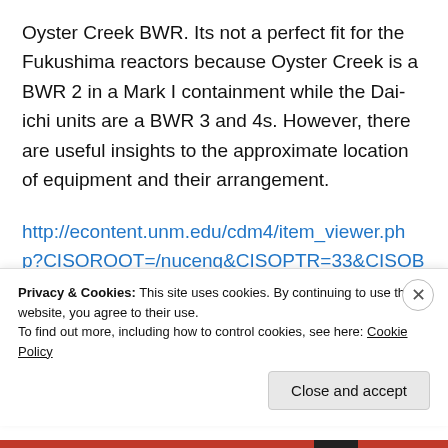Oyster Creek BWR. Its not a perfect fit for the Fukushima reactors because Oyster Creek is a BWR 2 in a Mark I containment while the Dai-ichi units are a BWR 3 and 4s. However, there are useful insights to the approximate location of equipment and their arrangement.
http://econtent.unm.edu/cdm4/item_viewer.php?CISOROOT=/nuceng&CISOPTR=33&CISOBOX=1&REC=1
Privacy & Cookies: This site uses cookies. By continuing to use this website, you agree to their use.
To find out more, including how to control cookies, see here: Cookie Policy